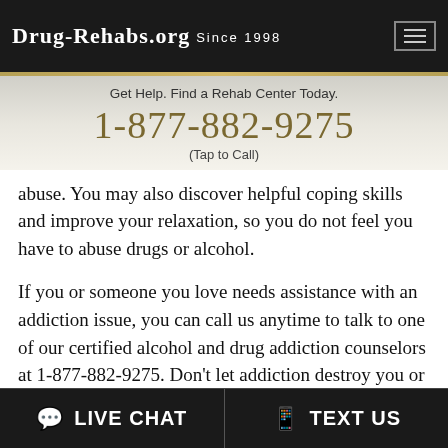Drug-Rehabs.org Since 1998
Get Help. Find a Rehab Center Today.
1-877-882-9275
(Tap to Call)
abuse. You may also discover helpful coping skills and improve your relaxation, so you do not feel you have to abuse drugs or alcohol.
If you or someone you love needs assistance with an addiction issue, you can call us anytime to talk to one of our certified alcohol and drug addiction counselors at 1-877-882-9275. Don't let addiction destroy you or your loved one. Get help now.
LIVE CHAT   TEXT US